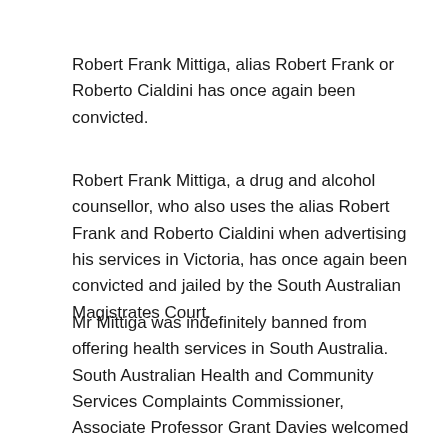Robert Frank Mittiga, alias Robert Frank or Roberto Cialdini has once again been convicted.
Robert Frank Mittiga, a drug and alcohol counsellor, who also uses the alias Robert Frank and Roberto Cialdini when advertising his services in Victoria, has once again been convicted and jailed by the South Australian Magistrates Court.
Mr Mittiga was indefinitely banned from offering health services in South Australia. South Australian Health and Community Services Complaints Commissioner, Associate Professor Grant Davies welcomed the sentencing earlier this month and advised this was the third time Mr Mittiga had been before the court for breaching a prohibition order